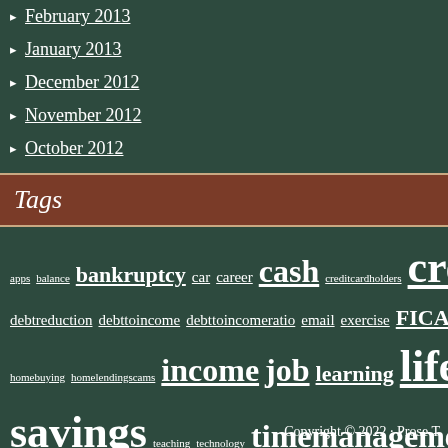February 2013
January 2013
December 2012
November 2012
October 2012
Tags
apps balance bankruptcy car career cash creditcardholders creditsco debtreduction debttoincome debttoincomeratio email exercise FICA homebuying homelendingscams income job learning lifestyle lifestylein savings teaching technology timemanagement trombone unclutter widget
Copyright © 2022 · Prose T